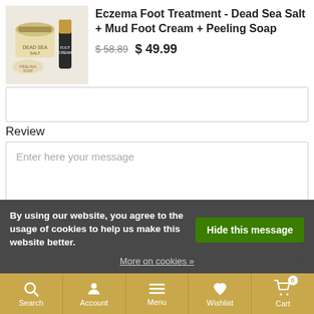[Figure (photo): Product photo showing Dead Sea salt container, mud foot cream tube, and peeling soap bar]
Eczema Foot Treatment - Dead Sea Salt + Mud Foot Cream + Peeling Soap
$ 58.89 $ 49.99
Review
Enter here your message
Add your review
Related products
By using our website, you agree to the usage of cookies to help us make this website better.
Hide this message
More on cookies »
Search  Account  Menu  Wishlist  Cart